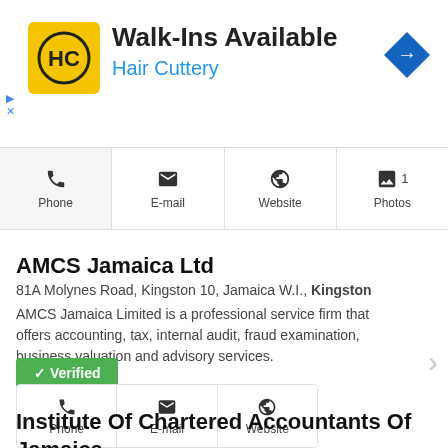[Figure (screenshot): Hair Cuttery advertisement banner with yellow logo, text 'Walk-Ins Available' and 'Hair Cuttery', and blue diamond arrow icon]
Phone | E-mail | Website | 1 Photos
AMCS Jamaica Ltd
81A Molynes Road, Kingston 10, Jamaica W.I., Kingston
AMCS Jamaica Limited is a professional service firm that offers accounting, tax, internal audit, fraud examination, business valuation and advisory services.
✓ Verified
Phone | E-mail | Website
Institute Of Chartered Accountants Of Jamaica